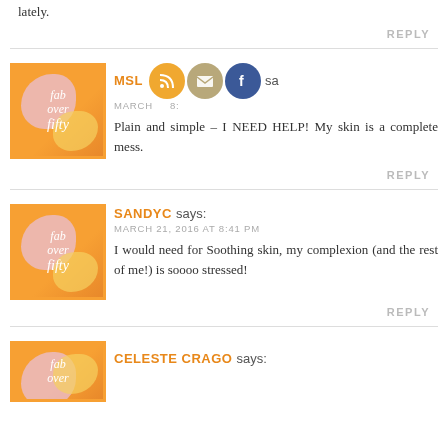lately.
REPLY
MSLA says: MARCH [date] 8:[time]
Plain and simple – I NEED HELP! My skin is a complete mess.
REPLY
SANDYC says:
MARCH 21, 2016 AT 8:41 PM
I would need for Soothing skin, my complexion (and the rest of me!) is soooo stressed!
REPLY
CELESTE CRAGO says: